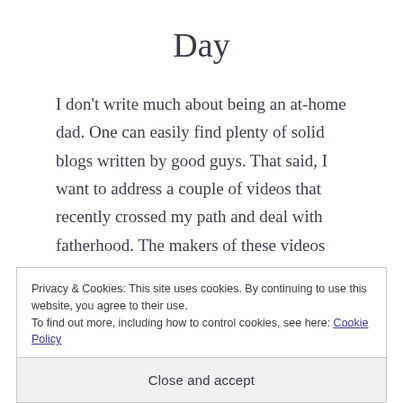Day
I don’t write much about being an at-home dad. One can easily find plenty of solid blogs written by good guys. That said, I want to address a couple of videos that recently crossed my path and deal with fatherhood. The makers of these videos seek to honor in a
Privacy & Cookies: This site uses cookies. By continuing to use this website, you agree to their use.
To find out more, including how to control cookies, see here: Cookie Policy
Close and accept